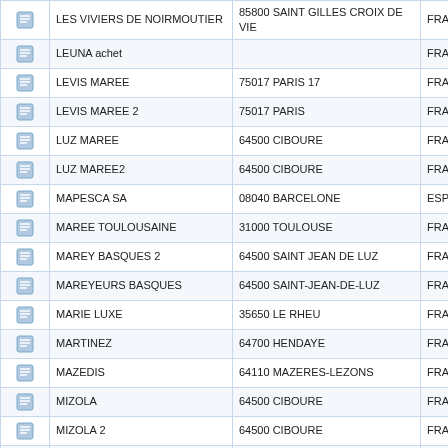|  | Name | Address | Country |
| --- | --- | --- | --- |
| [icon] | LES VIVIERS DE NOIRMOUTIER | 85800 SAINT GILLES CROIX DE VIE | FRA |
| [icon] | LEUNA achet |  | FRA |
| [icon] | LEVIS MAREE | 75017 PARIS 17 | FRA |
| [icon] | LEVIS MAREE 2 | 75017 PARIS | FRA |
| [icon] | LUZ MAREE | 64500 CIBOURE | FRA |
| [icon] | LUZ MAREE2 | 64500 CIBOURE | FRA |
| [icon] | MAPESCA SA | 08040 BARCELONE | ESP |
| [icon] | MAREE TOULOUSAINE | 31000 TOULOUSE | FRA |
| [icon] | MAREY BASQUES 2 | 64500 SAINT JEAN DE LUZ | FRA |
| [icon] | MAREYEURS BASQUES | 64500 SAINT-JEAN-DE-LUZ | FRA |
| [icon] | MARIE LUXE | 35650 LE RHEU | FRA |
| [icon] | MARTINEZ | 64700 HENDAYE | FRA |
| [icon] | MAZEDIS | 64110 MAZERES-LEZONS | FRA |
| [icon] | MIZOLA | 64500 CIBOURE | FRA |
| [icon] | MIZOLA 2 | 64500 CIBOURE | FRA |
| [icon] | MONTPON DISTRIBUTION | 24700 MONTPON MENESTEROL | FRA |
| [icon] | N2P | 17340 CHATELLAILLON PLAGE | FRA |
| [icon] | OH MATELOT | 33300 BORDEAUX | FRA |
| [icon] | OLAMERFISH | 29720 PLONEOUR LANVERN | FRA |